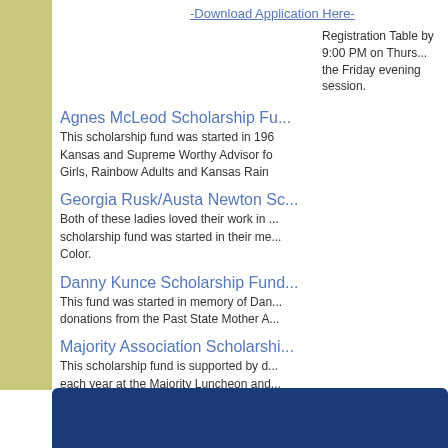-Download Application Here-
Registration Table by 9:00 PM on Thursday evening to be registered for the Friday evening session.
Agnes McLeod Scholarship Fu...
This scholarship fund was started in 196... Kansas and Supreme Worthy Advisor fo... Girls, Rainbow Adults and Kansas Rain...
Georgia Rusk/Austa Newton Sc...
Both of these ladies loved their work in ... scholarship fund was started in their me... Color.
Danny Kunce Scholarship Fund...
This fund was started in memory of Dan... donations from the Past State Mother A...
Majority Association Scholarshi...
This scholarship fund is supported by d... each year at the Majority Luncheon and... Assembly.
Download Scholarship Applicat...
Download Scholarship Instructi...